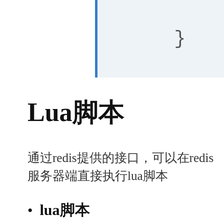[Figure (screenshot): Code block with blue left border on light blue background showing closing brace character '}']
Lua脚本
通过redis提供的接口，可以在redis服务器端直接执行lua脚本
lua脚本